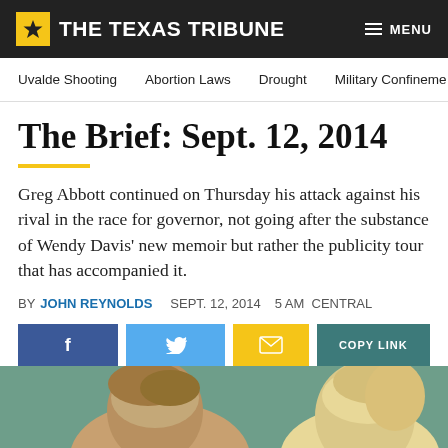THE TEXAS TRIBUNE
Uvalde Shooting  Abortion Laws  Drought  Military Confinement
The Brief: Sept. 12, 2014
Greg Abbott continued on Thursday his attack against his rival in the race for governor, not going after the substance of Wendy Davis' new memoir but rather the publicity tour that has accompanied it.
BY JOHN REYNOLDS   SEPT. 12, 2014   5 AM CENTRAL
[Figure (photo): Photo of two people, likely Greg Abbott and Wendy Davis, shown from shoulders up against a muted green background]